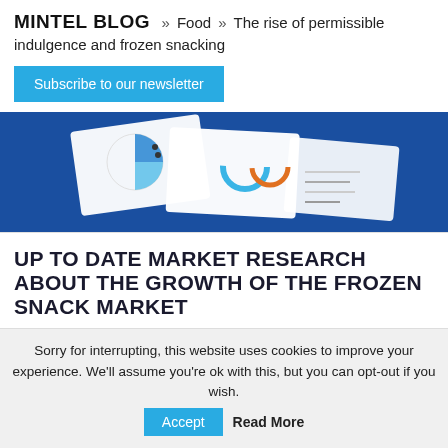MINTEL BLOG » Food » The rise of permissible indulgence and frozen snacking
Subscribe to our newsletter
[Figure (illustration): Banner image showing charts and reports on a blue background with white paper documents]
UP TO DATE MARKET RESEARCH ABOUT THE GROWTH OF THE FROZEN SNACK MARKET
Explore attitudes and the change in consumption of frozen snacks in the US
Sorry for interrupting, this website uses cookies to improve your experience. We'll assume you're ok with this, but you can opt-out if you wish. Accept  Read More